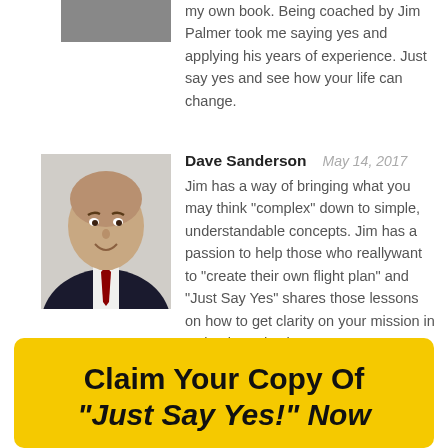my own book. Being coached by Jim Palmer took me saying yes and applying his years of experience. Just say yes and see how your life can change.
[Figure (photo): Partial photo of reviewer at top of page, cropped]
[Figure (photo): Headshot of Dave Sanderson, a man in a dark suit with a red tie, smiling]
Dave Sanderson   May 14, 2017
Jim has a way of bringing what you may think “complex” down to simple, understandable concepts. Jim has a passion to help those who reallywant to “create their own flight plan” and “Just Say Yes” shares those lessons on how to get clarity on your mission in a simple and coherent way!
Claim Your Copy Of “Just Say Yes!” Now